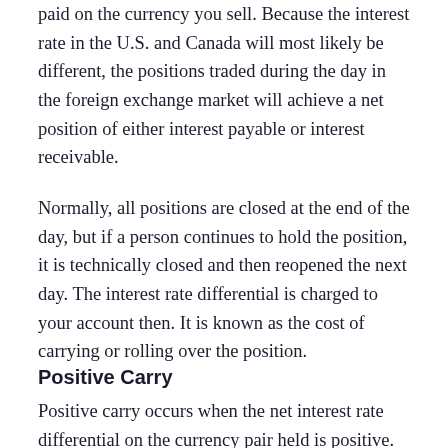paid on the currency you sell. Because the interest rate in the U.S. and Canada will most likely be different, the positions traded during the day in the foreign exchange market will achieve a net position of either interest payable or interest receivable.
Normally, all positions are closed at the end of the day, but if a person continues to hold the position, it is technically closed and then reopened the next day. The interest rate differential is charged to your account then. It is known as the cost of carrying or rolling over the position.
Positive Carry
Positive carry occurs when the net interest rate differential on the currency pair held is positive. For example, a person is long AUD/JPY, which means they buy the Australian dollar and sell the Japanese yen. The AUD interest rate is 5%, and the JPY interest rate